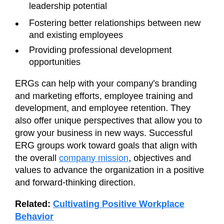leadership potential
Fostering better relationships between new and existing employees
Providing professional development opportunities
ERGs can help with your company’s branding and marketing efforts, employee training and development, and employee retention. They also offer unique perspectives that allow you to grow your business in new ways. Successful ERG groups work toward goals that align with the overall company mission, objectives and values to advance the organization in a positive and forward-thinking direction.
Related: Cultivating Positive Workplace Behavior
Benefits of Employee Resource Groups